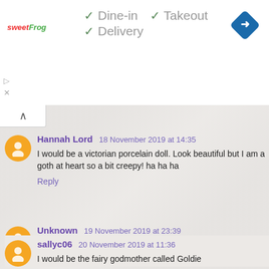[Figure (screenshot): Ad bar with sweetFrog logo, checkmarks for Dine-in, Takeout, Delivery, and a navigation diamond icon]
✓ Dine-in  ✓ Takeout
✓ Delivery
Hannah Lord  18 November 2019 at 14:35
I would be a victorian porcelain doll. Look beautiful but I am a goth at heart so a bit creepy! ha ha ha
Reply
Unknown  19 November 2019 at 23:39
Loved this at the cinema
Reply
sallyc06  20 November 2019 at 11:36
I would be the fairy godmother called Goldie